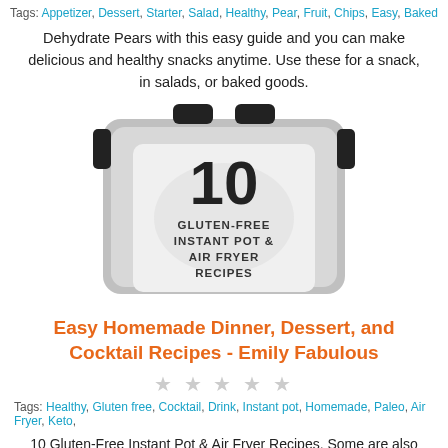Tags: Appetizer, Dessert, Starter, Salad, Healthy, Pear, Fruit, Chips, Easy, Baked
Dehydrate Pears with this easy guide and you can make delicious and healthy snacks anytime. Use these for a snack, in salads, or baked goods.
[Figure (photo): Book cover showing an instant pot with text '10 GLUTEN-FREE INSTANT POT & AIR FRYER RECIPES']
Easy Homemade Dinner, Dessert, and Cocktail Recipes - Emily Fabulous
★ ★ ★ ★ ★
Tags: Healthy, Gluten free, Cocktail, Drink, Instant pot, Homemade, Paleo, Air Fryer, Keto,
10 Gluten-Free Instant Pot & Air Fryer Recipes. Some are also Paleo, Whole 30 and Keto friendly. All of these recipes are easy, healthy and kid
[Figure (photo): Partial photo of food at the bottom of the page]